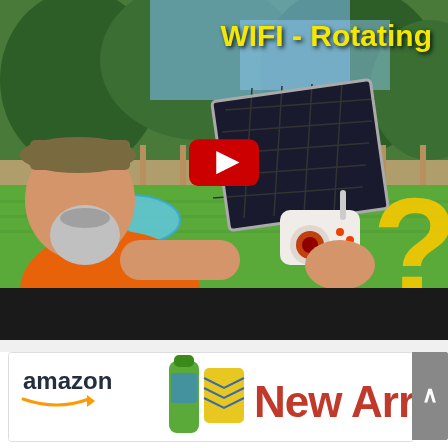[Figure (screenshot): YouTube video thumbnail showing a man in an orange shirt and tan cap holding a solar panel with a security camera attached, outdoors in a backyard with green grass and trees. The text 'WIFI - Rotating' appears in bold yellow at the top right. A red YouTube play button is centered on the image. A golden question mark shape is partially visible on the right. The bottom portion of the thumbnail is a dark/black bar.]
[Figure (screenshot): Amazon banner advertisement showing the Amazon logo with the signature smile arrow underneath, and the text 'New Arriva' (cut off) in large red bold letters on the right side. Green water bottle products are visible in the center.]